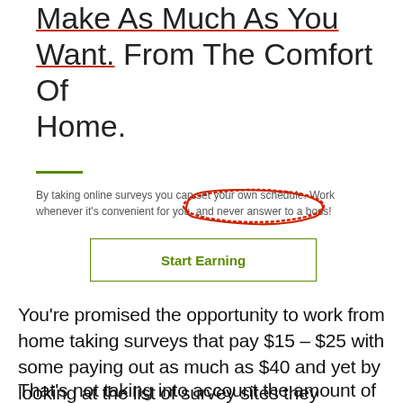Make As Much As You Want. From The Comfort Of Home.
By taking online surveys you can set your own schedule. Work whenever it's convenient for you, and never answer to a boss!
[Figure (other): Green-bordered button with text 'Start Earning' in green]
You're promised the opportunity to work from home taking surveys that pay $15 – $25 with some paying out as much as $40 and yet by looking at the list of survey sites they provided we know the most you can expect to earn is a measly $1.60/hour.
That's not taking into account the amount of